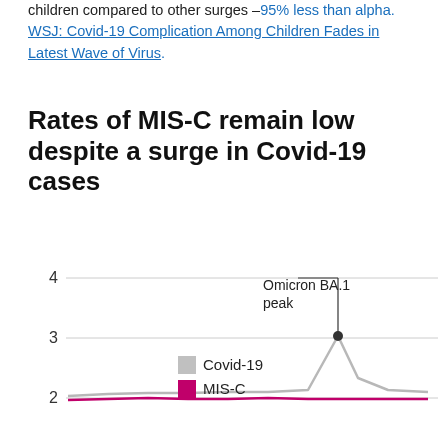children compared to other surges –95% less than alpha. WSJ: Covid-19 Complication Among Children Fades in Latest Wave of Virus.
Rates of MIS-C remain low despite a surge in Covid-19 cases
[Figure (line-chart): Line chart showing Covid-19 and MIS-C rates over time. Y-axis shows values 2, 3, 4. An annotation marks 'Omicron BA.1 peak' at approximately y=3 on the Covid-19 line, which spikes sharply. MIS-C line remains very low.]